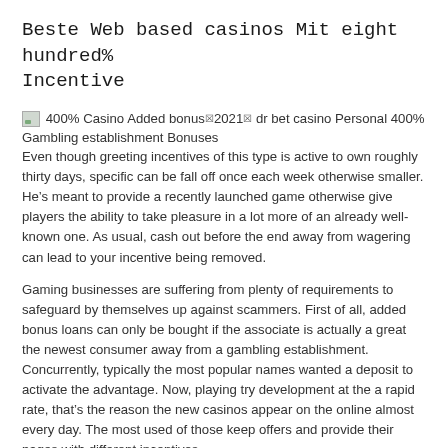Beste Web based casinos Mit eight hundred% Incentive
[Figure (illustration): Small broken image placeholder icon for '400% Casino Added bonus 2021 dr bet casino Personal 400% Gambling establishment Bonuses']
400% Casino Added bonus&2021& dr bet casino Personal 400% Gambling establishment Bonuses
Even though greeting incentives of this type is active to own roughly thirty days, specific can be fall off once each week otherwise smaller. He’s meant to provide a recently launched game otherwise give players the ability to take pleasure in a lot more of an already well-known one. As usual, cash out before the end away from wagering can lead to your incentive being removed.
Gaming businesses are suffering from plenty of requirements to safeguard by themselves up against scammers. First of all, added bonus loans can only be bought if the associate is actually a great the newest consumer away from a gambling establishment. Concurrently, typically the most popular names wanted a deposit to activate the advantage. Now, playing try development at the a rapid rate, that’s the reason the new casinos appear on the online almost every day. The most used of those keep offers and provide their pages with different incentives.
[Figure (illustration): Small broken image placeholder icon for '400% Casino Added bonus 2021 dr bet casino Personal 400%']